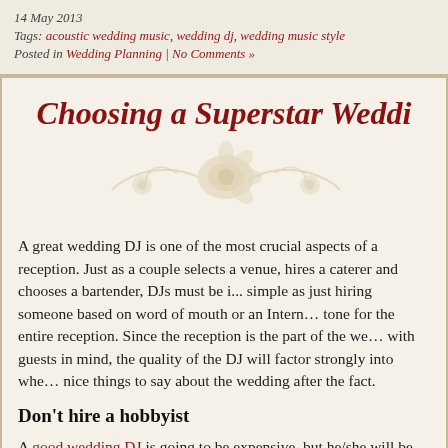14 May 2013
Tags: acoustic wedding music, wedding dj, wedding music style
Posted in Wedding Planning | No Comments »
Choosing a Superstar Wedding DJ
[Figure (illustration): Decorative floral divider with rose and swirl motif in cream/gold tones]
A great wedding DJ is one of the most crucial aspects of a reception. Just as a couple selects a venue, hires a caterer and chooses a bartender, DJs must be interviewed carefully. It is not as simple as just hiring someone based on word of mouth or an Internet review. The DJ will set the tone for the entire reception. Since the reception is the part of the wedding that is mainly designed with guests in mind, the quality of the DJ will factor strongly into whether or not guests have nice things to say about the wedding after the fact.
Don't hire a hobbyist
A good wedding DJ is going to be expensive, but he/she will be worth every penny. Some couples try to save money by hiring hobbyists or music fans with home sound equipment, but they risk having receptions that are not as enjoyable as they could be. All of the money that is spent on the other aspects of a reception will have been wasted if the DJ is below par.
A DJ is a musician